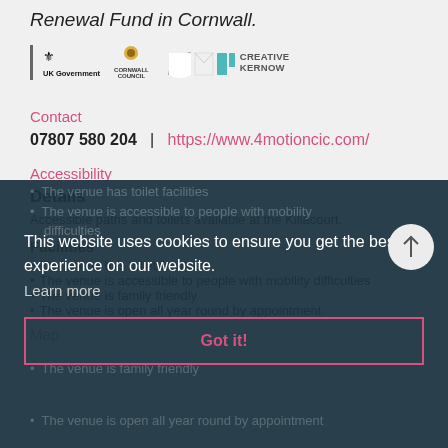Renewal Fund in Cornwall.
[Figure (logo): UK Government logo, Cornwall Council logo, Creative Kernow logo displayed in a logos bar]
Contact
07807 580 204  |  https://www.4motioncic.com/
Accessibility
Details
Accessible paths and toilets available at the Killacourt.
Facilities
The venue has toilet facilities
The venue is accessible to people with mobility difficulties
The venue is family friendly
The venue is open all year round by appointment
Map
This website uses cookies to ensure you get the best experience on our website. Learn more
Got it!